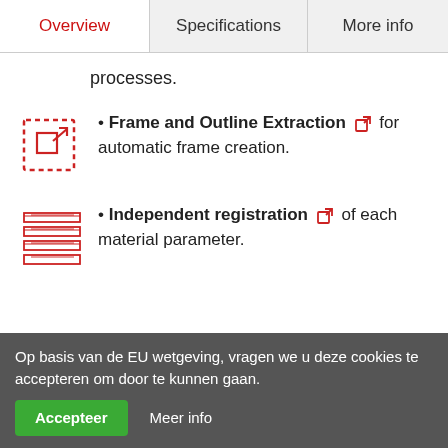Overview | Specifications | More info
processes.
Frame and Outline Extraction [external link] for automatic frame creation.
Independent registration [external link] of each material parameter.
Op basis van de EU wetgeving, vragen we u deze cookies te accepteren om door te kunnen gaan. Accepteer  Meer info